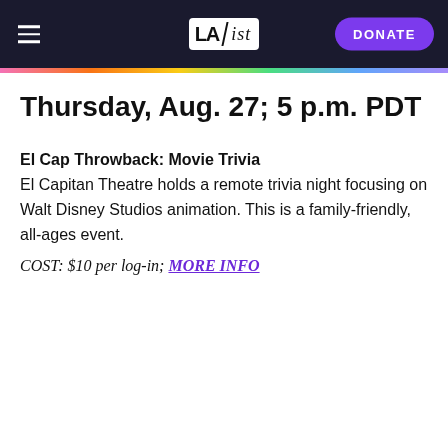LAist | DONATE
Thursday, Aug. 27; 5 p.m. PDT
El Cap Throwback: Movie Trivia
El Capitan Theatre holds a remote trivia night focusing on Walt Disney Studios animation. This is a family-friendly, all-ages event.
COST: $10 per log-in; MORE INFO